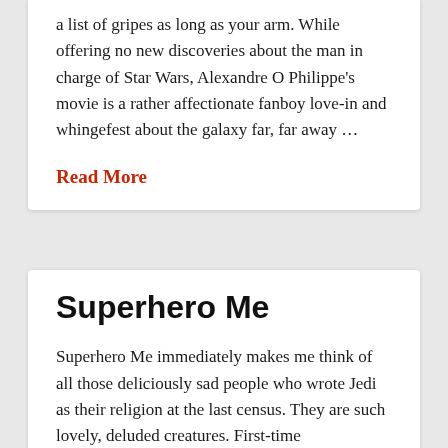a list of gripes as long as your arm. While offering no new discoveries about the man in charge of Star Wars, Alexandre O Philippe's movie is a rather affectionate fanboy love-in and whingefest about the galaxy far, far away …
Read More
Superhero Me
Superhero Me immediately makes me think of all those deliciously sad people who wrote Jedi as their religion at the last census. They are such lovely, deluded creatures. First-time documentary filmmaker Steve Sale decides to become a superhero. His journey begins by